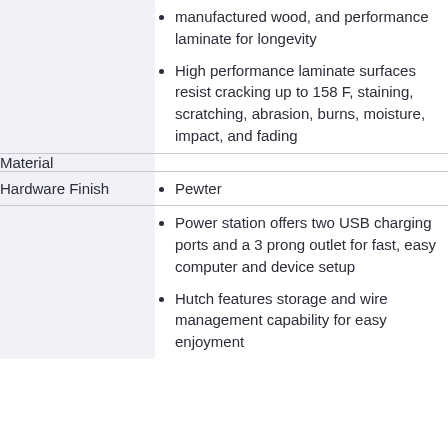| Attribute | Details |
| --- | --- |
| Material | • manufactured wood, and performance laminate for longevity
• High performance laminate surfaces resist cracking up to 158 F, staining, scratching, abrasion, burns, moisture, impact, and fading |
| Hardware Finish | • Pewter |
|  | • Power station offers two USB charging ports and a 3 prong outlet for fast, easy computer and device setup
• Hutch features storage and wire management capability for easy enjoyment |